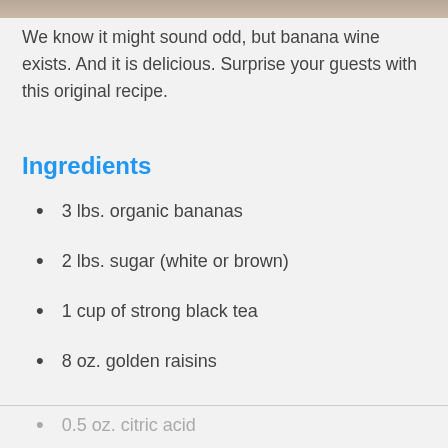[Figure (photo): Partial image bar at the top of the page]
We know it might sound odd, but banana wine exists. And it is delicious. Surprise your guests with this original recipe.
Ingredients
3 lbs. organic bananas
2 lbs. sugar (white or brown)
1 cup of strong black tea
8 oz. golden raisins
0.5 oz. citric acid